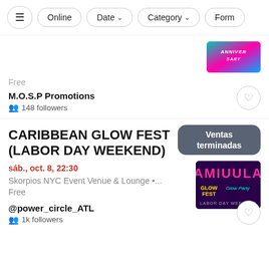Online | Date | Category | Form
Free
M.O.S.P Promotions
148 followers
CARIBBEAN GLOW FEST (LABOR DAY WEEKEND)
sáb., oct. 8, 22:30
Skorpios NYC Event Venue & Lounge •...
Free
@power_circle_ATL
1k followers